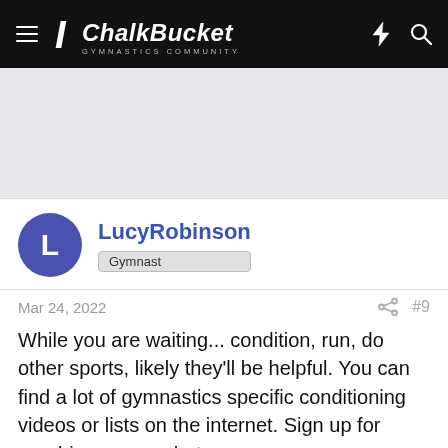ChalkBucket GYMNASTICS COMMUNITY
[Figure (other): Advertisement banner area, light gray background]
LucyRobinson
Gymnast
Mar 24, 2022   #9
While you are waiting... condition, run, do other sports, likely they'll be helpful. You can find a lot of gymnastics specific conditioning videos or lists on the internet. Sign up for aerobics, yoga, whatever catches your fancy. Being in shape isn't usually prerequisite for beginning gymnastics, but chances